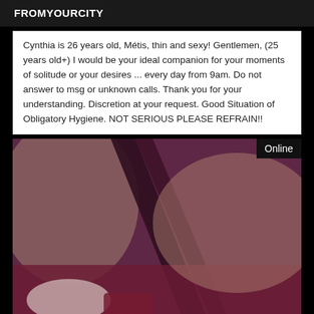FROMYOURCITY
Cynthia is 26 years old, Métis, thin and sexy! Gentlemen, (25 years old+) I would be your ideal companion for your moments of solitude or your desires ... every day from 9am. Do not answer to msg or unknown calls. Thank you for your understanding. Discretion at your request. Good Situation of Obligatory Hygiene. NOT SERIOUS PLEASE REFRAIN!!
[Figure (photo): Close-up photo showing legs/heels with purple/magenta tones, with an 'Online' badge in the top right corner]